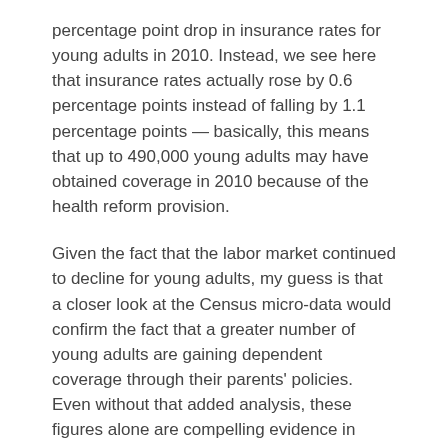percentage point drop in insurance rates for young adults in 2010. Instead, we see here that insurance rates actually rose by 0.6 percentage points instead of falling by 1.1 percentage points — basically, this means that up to 490,000 young adults may have obtained coverage in 2010 because of the health reform provision.
Given the fact that the labor market continued to decline for young adults, my guess is that a closer look at the Census micro-data would confirm the fact that a greater number of young adults are gaining dependent coverage through their parents' policies. Even without that added analysis, these figures alone are compelling evidence in support of the argument that health reform is beginning to work.
Enjoyed this post?